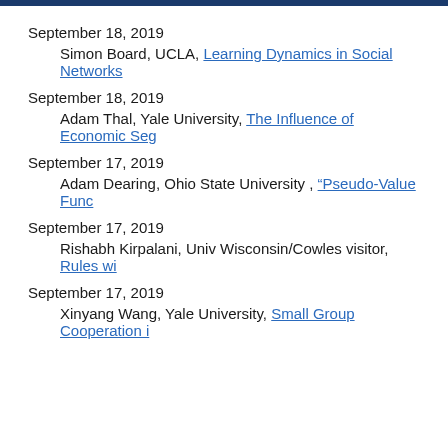September 18, 2019
Simon Board, UCLA, Learning Dynamics in Social Networks
September 18, 2019
Adam Thal, Yale University, The Influence of Economic Seg
September 17, 2019
Adam Dearing, Ohio State University , "Pseudo-Value Func
September 17, 2019
Rishabh Kirpalani, Univ Wisconsin/Cowles visitor, Rules wi
September 17, 2019
Xinyang Wang, Yale University, Small Group Cooperation i